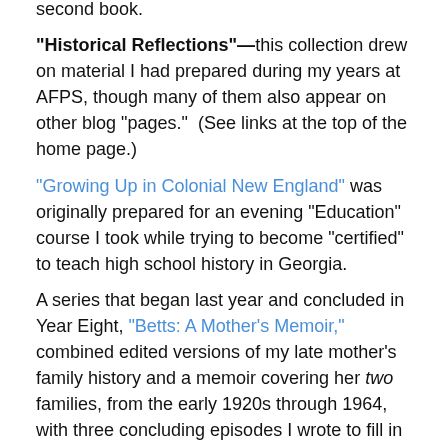second book.
“Historical Reflections”—this collection drew on material I had prepared during my years at AFPS, though many of them also appear on other blog “pages.”  (See links at the top of the home page.)
“Growing Up in Colonial New England” was originally prepared for an evening “Education” course I took while trying to become “certified” to teach high school history in Georgia.
A series that began last year and concluded in Year Eight, “Betts: A Mother’s Memoir,” combined edited versions of my late mother’s family history and a memoir covering her two families, from the early 1920s through 1964, with three concluding episodes I wrote to fill in gaps and provide a broader context for Betts’ story (go here, here, and here).